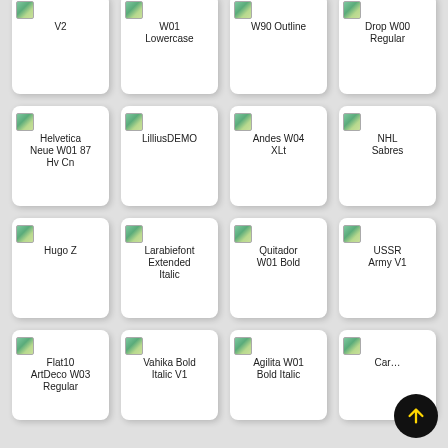[Figure (screenshot): Grid of font preview cards. Row 1 (partial, top): V2, W01 Lowercase, W90 Outline, Drop W00 Regular. Row 2: Helvetica Neue W01 87 Hv Cn, LilliusDEMO, Andes W04 XLt, NHL Sabres. Row 3: Hugo Z, Larabiefont Extended Italic, Quitador W01 Bold, USSR Army V1. Row 4 (partial, bottom): Flat10 ArtDeco W03 Regular, Vahika Bold Italic V1, Agilita W01 Bold Italic, Car... (partially obscured by up-arrow FAB button).]